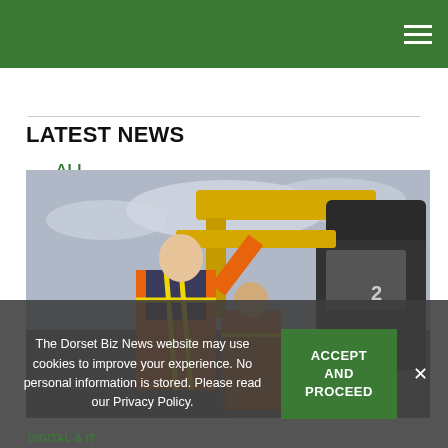Navigation bar with hamburger menu
ALL AWARDS STORIES »
LATEST NEWS
[Figure (photo): Person wearing an orange hi-vis vest standing on construction machinery (yellow digger/excavator), arm raised, with another person in orange hi-vis vest visible behind. Overcast sky in background.]
The Dorset Biz News website may use cookies to improve your experience. No personal information is stored. Please read our Privacy Policy.
ACCEPT AND PROCEED
DIGITAL & IT